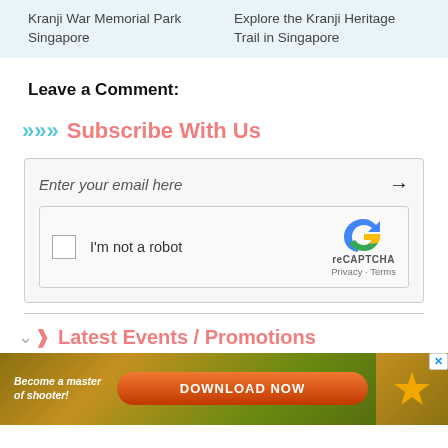Kranji War Memorial Park Singapore
Explore the Kranji Heritage Trail in Singapore
Leave a Comment:
Subscribe With Us
Enter your email here
[Figure (other): reCAPTCHA widget with checkbox labeled I'm not a robot]
Latest Events / Promotions
[Figure (infographic): Advertisement banner: Become a master of shooter! DOWNLOAD NOW button with decorative elements]